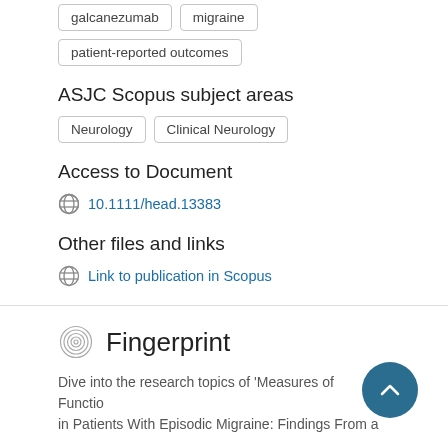galcanezumab
migraine
patient-reported outcomes
ASJC Scopus subject areas
Neurology
Clinical Neurology
Access to Document
10.1111/head.13383
Other files and links
Link to publication in Scopus
Fingerprint
Dive into the research topics of 'Measures of Functional Outcomes in Patients With Episodic Migraine: Findings From a